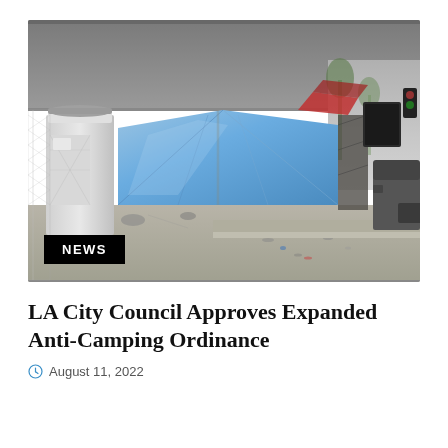[Figure (photo): Street scene under an overpass showing a homeless encampment with blue tents and a portable toilet on a sidewalk next to parked cars. A black NEWS badge is overlaid in the lower left corner of the photo.]
LA City Council Approves Expanded Anti-Camping Ordinance
August 11, 2022